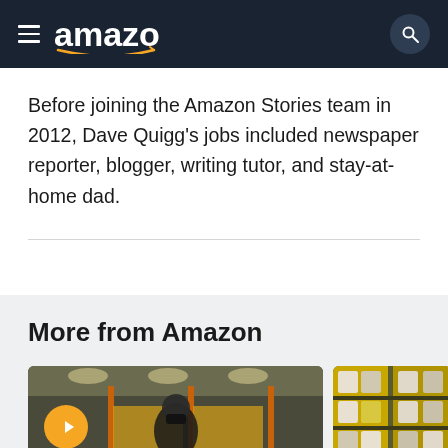amazon
Before joining the Amazon Stories team in 2012, Dave Quigg's jobs included newspaper reporter, blogger, writing tutor, and stay-at-home dad.
More from Amazon
[Figure (photo): Amazon fulfillment center warehouse interior with woman wearing mask in foreground; orange play button overlay in bottom-left]
[Figure (photo): Amazon warehouse shelving with yellow storage racks and products]